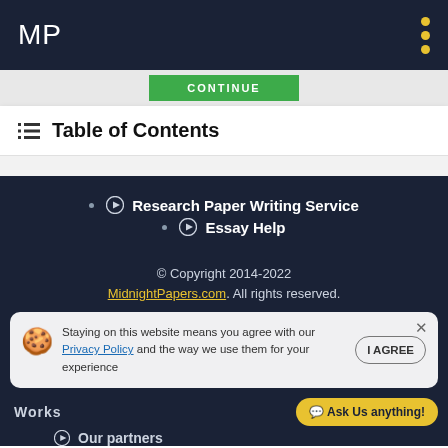MP
CONTINUE
Table of Contents
Research Paper Writing Service
Essay Help
© Copyright 2014-2022 MidnightPapers.com. All rights reserved.
Staying on this website means you agree with our Privacy Policy and the way we use them for your experience
Works
Ask Us anything!
Our partners